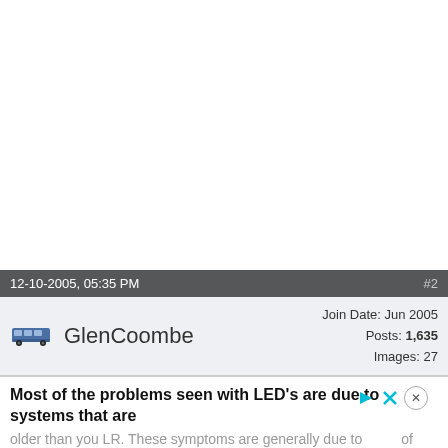12-10-2005, 05:35 PM   #2
GlenCoombe   Join Date: Jun 2005   Posts: 1,635   Images: 27
Most of the problems seen with LED's are due to systems that are older than you LR. These symptoms are generally due to of draw or resistance in the LED units.
If I read your post correctly this is you tail lights not your turn signals